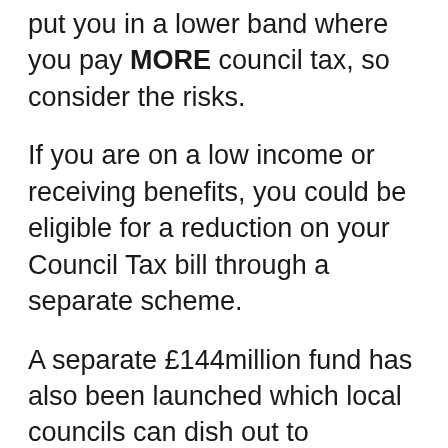put you in a lower band where you pay MORE council tax, so consider the risks.
If you are on a low income or receiving benefits, you could be eligible for a reduction on your Council Tax bill through a separate scheme.
A separate £144million fund has also been launched which local councils can dish out to vulnerable and low income households.
Read More on The Sun